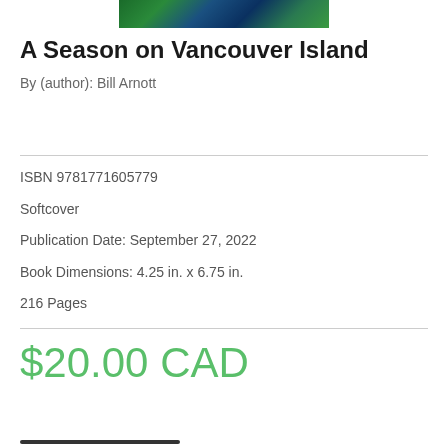[Figure (photo): Partial book cover image showing colorful nature/forest scene in greens and blues]
A Season on Vancouver Island
By (author): Bill Arnott
ISBN 9781771605779
Softcover
Publication Date: September 27, 2022
Book Dimensions: 4.25 in. x 6.75 in.
216 Pages
$20.00 CAD